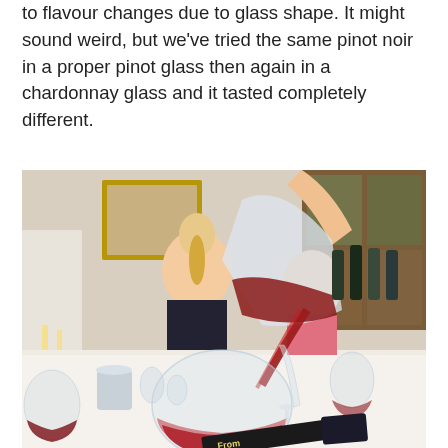to flavour changes due to glass shape. It might sound weird, but we've tried the same pinot noir in a proper pinot glass then again in a chardonnay glass and it tasted completely different.
[Figure (photo): A wine tasting scene showing a hand pouring red wine from a decanter into a large balloon wine glass, with various wine glasses and bottles on the table, people seated in the background, and a book titled 'From Food' visible in the foreground.]